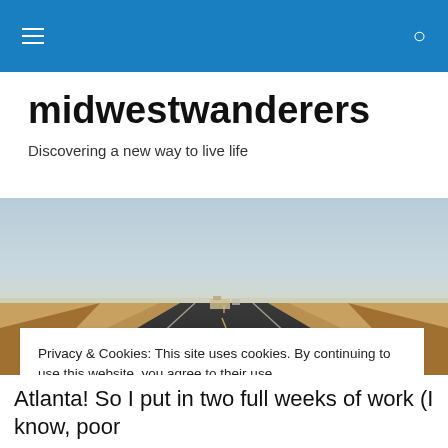midwestwanderers — site navigation header with hamburger menu and search icon
midwestwanderers
Discovering a new way to live life
[Figure (photo): Wide open road stretching into the distance through flat prairie/grassland under a hazy sky, perspective view from road level]
Privacy & Cookies: This site uses cookies. By continuing to use this website, you agree to their use.
To find out more, including how to control cookies, see here: Cookie Policy
[Close and accept button]
Atlanta! So I put in two full weeks of work (I know, poor